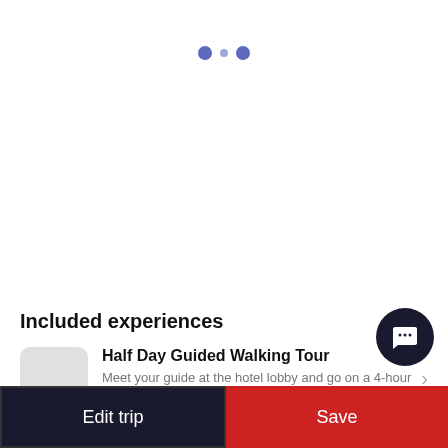[Figure (screenshot): Three dots pagination indicator at top of screen, two filled blue circles with a smaller dot in between]
Included experiences
[Figure (illustration): Circular dark chat/message FAB button in bottom right area]
Half Day Guided Walking Tour
Meet your guide at the hotel lobby and go on a 4-hour panoramic walking city tour of this magnificent Norwegian...
Itinerary is not saved! Please save this program
Edit trip
Save